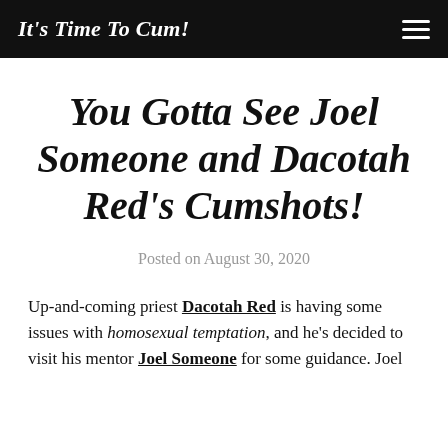It's Time To Cum!
You Gotta See Joel Someone and Dacotah Red's Cumshots!
Posted on August 30, 2020
Up-and-coming priest Dacotah Red is having some issues with homosexual temptation, and he's decided to visit his mentor Joel Someone for some guidance. Joel